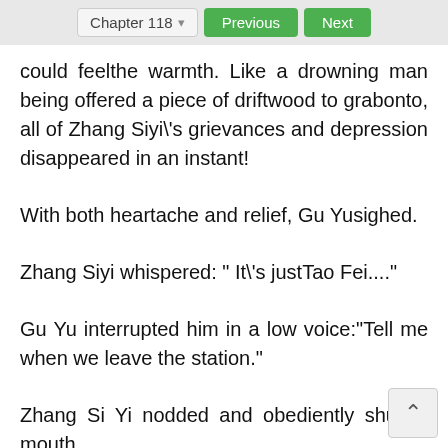Chapter 118  Previous  Next
could feelthe warmth. Like a drowning man being offered a piece of driftwood to grabonto, all of Zhang Siyi\'s grievances and depression disappeared in an instant!
With both heartache and relief, Gu Yusighed.
Zhang Siyi whispered: " It\'s justTao Fei...."
Gu Yu interrupted him in a low voice:“Tell me when we leave the station."
Zhang Si Yi nodded and obediently shuthis mouth.